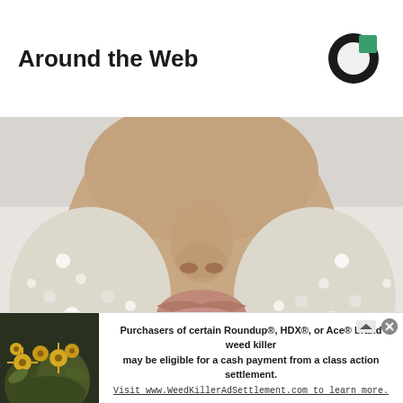Around the Web
[Figure (logo): Outbrain logo — circular dark ring with green square cutout at top right]
[Figure (photo): Close-up photograph of a person's face covered in sugar crystals or salt granules, showing nose, lips, and chin area with crystalline texture covering the skin]
[Figure (photo): Advertisement banner showing yellow flowers/plants on the left side]
Purchasers of certain Roundup®, HDX®, or Ace® brand weed killer may be eligible for a cash payment from a class action settlement. Visit www.WeedKillerAdSettlement.com to learn more.